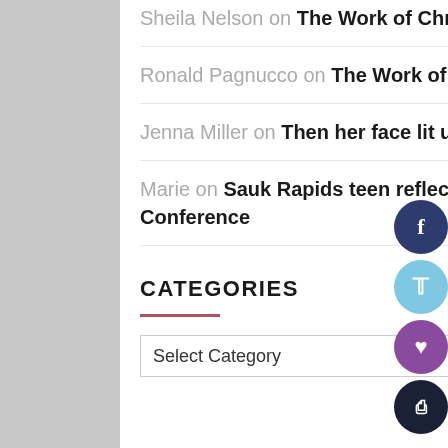Sheila Nelson on The Work of Christmas
Ronald Pagnucco on The Work of Christmas
Jenna Miller on Then her face lit up with beauty
Marie on Sauk Rapids teen reflects on National Catholic Youth Conference
CATEGORIES
[Figure (other): Select Category dropdown menu]